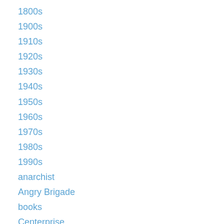1800s
1900s
1910s
1920s
1930s
1940s
1950s
1960s
1970s
1980s
1990s
anarchist
Angry Brigade
books
Centerprise
Clapton
Class War
Clissold Park
communism / socialism
community defence